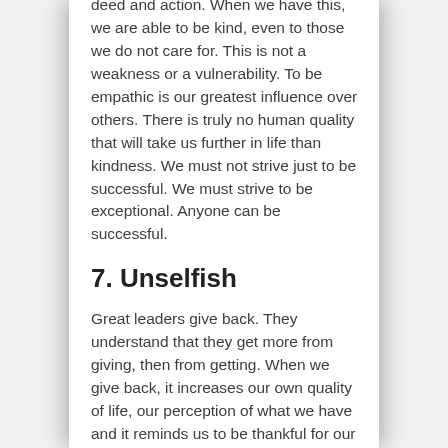deed and action. When we have this, we are able to be kind, even to those we do not care for. This is not a weakness or a vulnerability. To be empathic is our greatest influence over others. There is truly no human quality that will take us further in life than kindness. We must not strive just to be successful. We must strive to be exceptional. Anyone can be successful.
7. Unselfish
Great leaders give back. They understand that they get more from giving, then from getting. When we give back, it increases our own quality of life, our perception of what we have and it reminds us to be thankful for our lives, as we witness the impact we